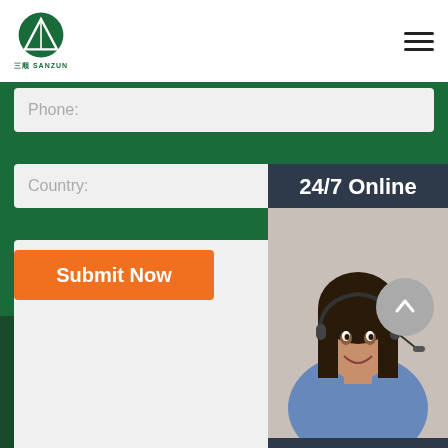SANZUN logo and navigation
Phone:
Country:
Message:
[Figure (photo): 24/7 Online customer service agent - woman with headset smiling]
Click here for free chat !
QUOTATION
Submit Now
Copyright © Jiangsu Sanzun new material industry co. | Sitemap | house slippers children brazil | durable spa slippers portugal | hotel slippers excellence estonia